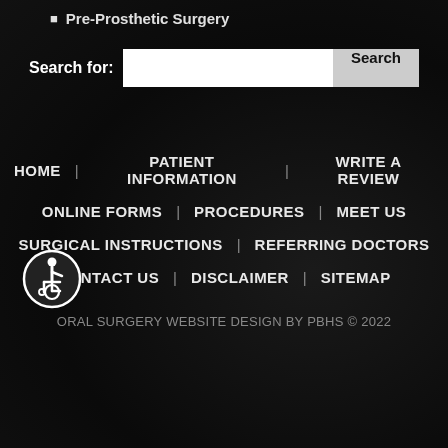Pre-Prosthetic Surgery
Search for: [input] Search
HOME
PATIENT INFORMATION
WRITE A REVIEW
ONLINE FORMS
PROCEDURES
MEET US
SURGICAL INSTRUCTIONS
REFERRING DOCTORS
CONTACT US
DISCLAIMER
SITEMAP
ORAL SURGERY WEBSITE DESIGN BY PBHS © 2022
[Figure (illustration): Wheelchair accessibility icon in a white circle on dark background]